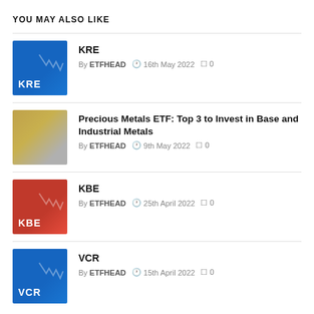YOU MAY ALSO LIKE
KRE
By ETFHEAD  16th May 2022  0
Precious Metals ETF: Top 3 to Invest in Base and Industrial Metals
By ETFHEAD  9th May 2022  0
KBE
By ETFHEAD  25th April 2022  0
VCR
By ETFHEAD  15th April 2022  0